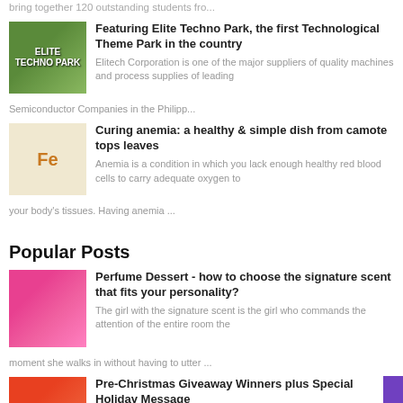bring together 120 outstanding students fro...
[Figure (photo): Elite Techno Park sign with trees in background]
Featuring Elite Techno Park, the first Technological Theme Park in the country
Elitech Corporation is one of the major suppliers of quality machines and process supplies of leading Semiconductor Companies in the Philipp...
[Figure (photo): Iron-rich foods with Fe symbol on white background]
Curing anemia: a healthy & simple dish from camote tops leaves
Anemia  is a condition in which you lack enough healthy red blood cells to carry adequate oxygen to your body's tissues. Having  anemia ...
Popular Posts
[Figure (photo): Colorful perfume bottles with pink background]
Perfume Dessert - how to choose the signature scent that fits your personality?
The girl with the signature scent is the girl who commands the attention of the entire room the moment she walks in without having to utter ...
[Figure (photo): Christmas themed image with decorations]
Pre-Christmas Giveaway Winners plus Special Holiday Message